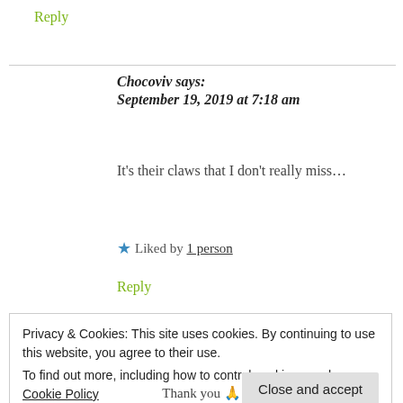Reply
Chocoviv says:
September 19, 2019 at 7:18 am
It's their claws that I don't really miss...
★ Liked by 1 person
Reply
Privacy & Cookies: This site uses cookies. By continuing to use this website, you agree to their use.
To find out more, including how to control cookies, see here: Cookie Policy
Close and accept
Thank you 🙏